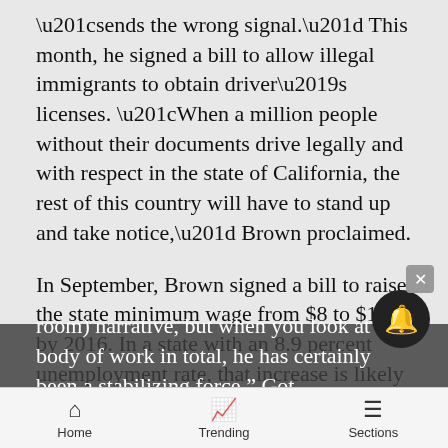“sends the wrong signal.” This month, he signed a bill to allow illegal immigrants to obtain driver’s licenses. “When a million people without their documents drive legally and with respect in the state of California, the rest of this country will have to stand up and take notice,” Brown proclaimed.
In September, Brown signed a bill to raise the state minimum wage from $8 to $10 by 2016. In a state with an 8.9 percent unemployment rate, that increase is likely to discourage small businesses from hiring new workers.
Glazer responded, “There will always be individual pieces of legislation that don’t fit this (adult in the room) narrative, but when you look at his body of work in total, he has certainly been a stabilizing force.” Got
Home | Trending | Sections